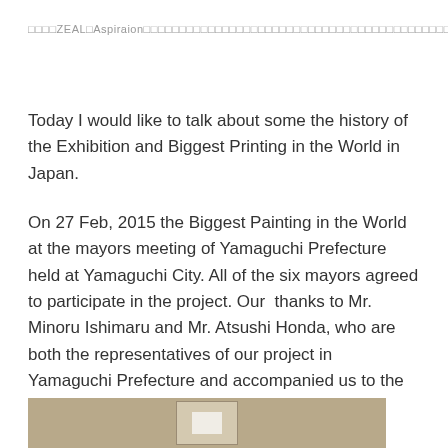□□□□ZEAL□Aspiraion□□□□□□□□□□□□□□□□□□□□□□□□□□□□□□□□□
Today I would like to talk about some the history of the Exhibition and Biggest Printing in the World in Japan.
On 27 Feb, 2015 the Biggest Painting in the World at the mayors meeting of Yamaguchi Prefecture held at Yamaguchi City. All of the six mayors agreed to participate in the project. Our  thanks to Mr. Minoru Ishimaru and Mr. Atsushi Honda, who are both the representatives of our project in Yamaguchi Prefecture and accompanied us to the meeting.
[Figure (photo): Partial view of a photo at the bottom of the page, showing a light-colored framed object on a brownish background]